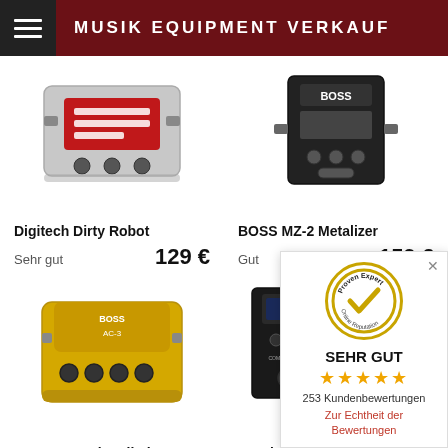MUSIK EQUIPMENT VERKAUF
[Figure (photo): Digitech Dirty Robot guitar pedal, silver/red color]
Digitech Dirty Robot
Sehr gut   129 €
[Figure (photo): BOSS MZ-2 Metalizer guitar pedal, black color]
BOSS MZ-2 Metalizer
Gut   159 €
[Figure (photo): Boss AC-3 Akustikgitarren Simulator pedal, gold/yellow color]
Boss AC-3 Akustikgitarren Sim.
Sehr gut   119 €
[Figure (photo): TC Electronic multi-effects guitar pedal, black]
TC Electronic
Gebraucht
[Figure (infographic): Proven Expert Online Reputation badge overlay showing SEHR GUT rating with 5 stars and 253 Kundenbewertungen]